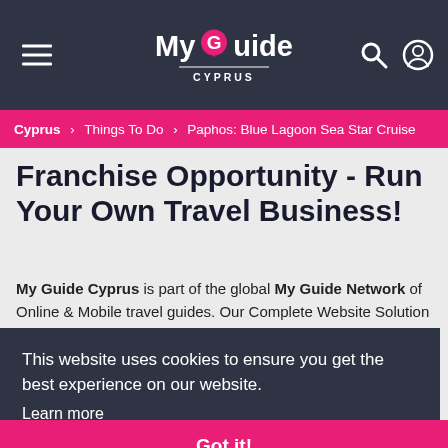My Guide Cyprus — navigation header
Cyprus > Things To Do > Paphos: Blue Lagoon Sea Star Cruise
Franchise Opportunity - Run Your Own Travel Business!
My Guide Cyprus is part of the global My Guide Network of Online & Mobile travel guides. Our Complete Website Solution frees up [content continues] ...operate
This website uses cookies to ensure you get the best experience on our website. Learn more
Got it!